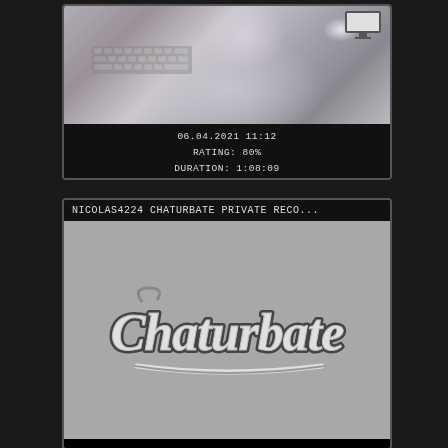[Figure (screenshot): Video thumbnail showing a person in a white t-shirt with keyboard design, partially visible, dark background]
06.04.2021 11:12
RATING: 80%
DURATION: 1:08:09
NICOLAS4224 CHATURBATE PRIVATE RECO...
[Figure (screenshot): Gray placeholder thumbnail showing the Chaturbate logo in stylized script text with dark outline on gray background]